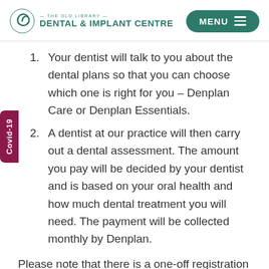[Figure (logo): The Old Library Dental & Implant Centre logo with spiral icon in teal]
Your dentist will talk to you about the dental plans so that you can choose which one is right for you – Denplan Care or Denplan Essentials.
A dentist at our practice will then carry out a dental assessment. The amount you pay will be decided by your dentist and is based on your oral health and how much dental treatment you will need. The payment will be collected monthly by Denplan.
Please note that there is a one-off registration